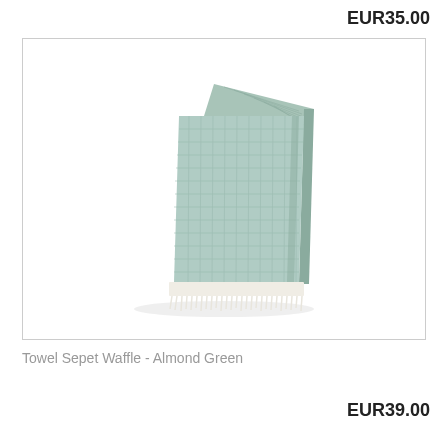EUR35.00
[Figure (photo): A folded waffle-weave towel in almond green color with cream fringe at the bottom, displayed on a white background inside a bordered box.]
Towel Sepet Waffle - Almond Green
EUR39.00